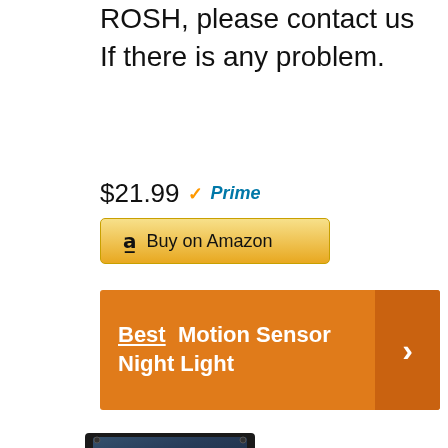ROSH, please contact us If there is any problem.
$21.99 Prime
Buy on Amazon
Best Motion Sensor Night Light
[Figure (photo): Two BAXIA brand solar-powered motion sensor night lights, black rectangular devices with solar panels on top and LED lights on the front.]